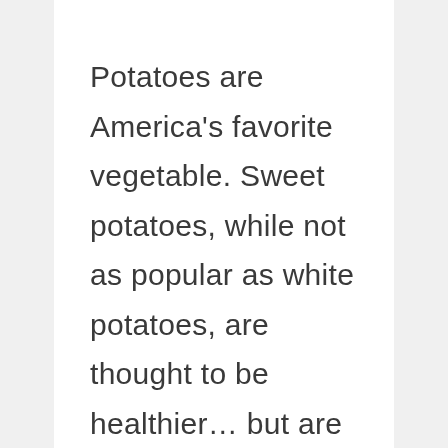Potatoes are America's favorite vegetable. Sweet potatoes, while not as popular as white potatoes, are thought to be healthier… but are they? When you compare the health benefits of the two different types of potatoes, that's not necessarily the case.